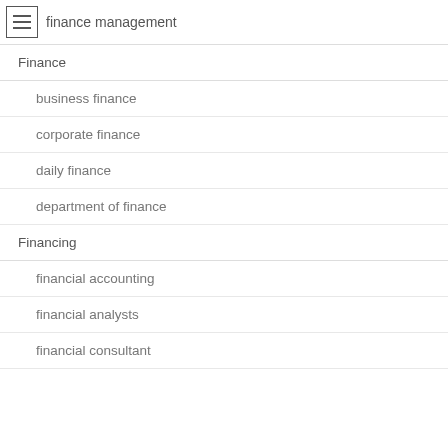finance management
Finance
business finance
corporate finance
daily finance
department of finance
Financing
financial accounting
financial analysts
financial consultant